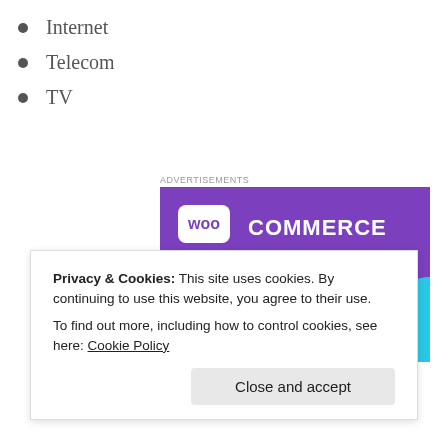Internet
Telecom
TV
[Figure (illustration): WooCommerce advertisement banner showing 'How to start selling subscriptions online' with purple and teal design elements and a button]
Privacy & Cookies: This site uses cookies. By continuing to use this website, you agree to their use. To find out more, including how to control cookies, see here: Cookie Policy
Close and accept